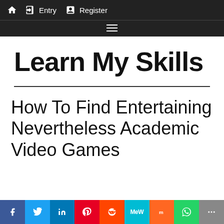Home  Entry  Register
Learn My Skills
How To Find Entertaining Nevertheless Academic Video Games
[Figure (screenshot): Social sharing bar with icons for Facebook, Twitter, LinkedIn, Pinterest, Reddit, MeWe, Mix, WhatsApp, and More]